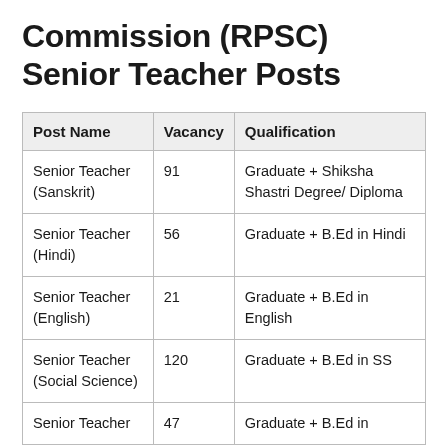Commission (RPSC) Senior Teacher Posts
| Post Name | Vacancy | Qualification |
| --- | --- | --- |
| Senior Teacher (Sanskrit) | 91 | Graduate + Shiksha Shastri Degree/ Diploma |
| Senior Teacher (Hindi) | 56 | Graduate + B.Ed in Hindi |
| Senior Teacher (English) | 21 | Graduate + B.Ed in English |
| Senior Teacher (Social Science) | 120 | Graduate + B.Ed in SS |
| Senior Teacher | 47 | Graduate + B.Ed in |